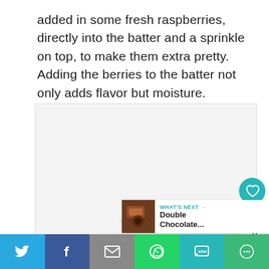added in some fresh raspberries, directly into the batter and a sprinkle on top, to make them extra pretty.  Adding the berries to the batter not only adds flavor but moisture.
[Figure (photo): Light gray placeholder image area with navigation dots at bottom and social interaction buttons (heart/like, share) on the right side]
[Figure (screenshot): What's Next widget showing a thumbnail of a chocolate dessert with text 'WHAT'S NEXT → Double Chocolate...']
[Figure (screenshot): Social sharing bar with Twitter, Facebook, Email, WhatsApp, SMS, and More buttons]